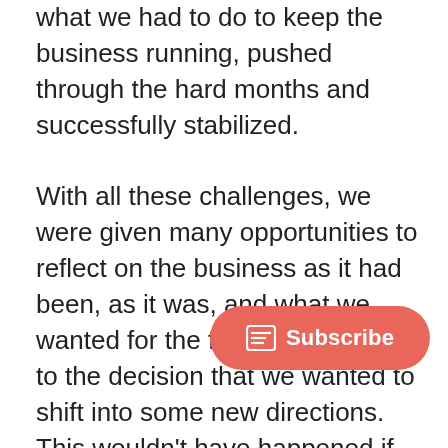what we had to do to keep the business running, pushed through the hard months and successfully stabilized.

With all these challenges, we were given many opportunities to reflect on the business as it had been, as it was, and what we wanted for the future. We came to the decision that we wanted to shift into some new directions. This wouldn't have happened if we hadn't been forced to take a hard look at ourselves and what we wanted out of our business. It is only looking back at all the challenges we faced, decisions we made, and sacrifices we made that I ca appreciate the path that led us e today. I certainly did not appreciate the path as